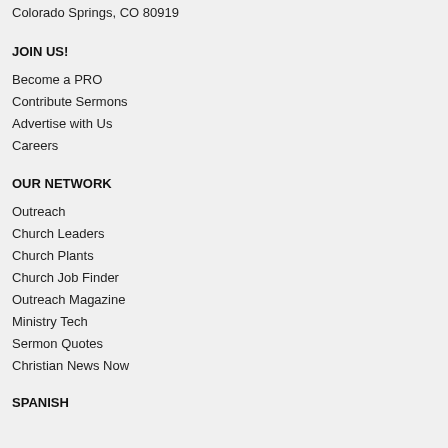Colorado Springs, CO 80919
JOIN US!
Become a PRO
Contribute Sermons
Advertise with Us
Careers
OUR NETWORK
Outreach
Church Leaders
Church Plants
Church Job Finder
Outreach Magazine
Ministry Tech
Sermon Quotes
Christian News Now
SPANISH